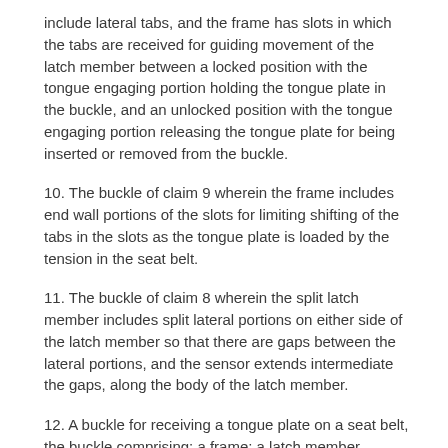include lateral tabs, and the frame has slots in which the tabs are received for guiding movement of the latch member between a locked position with the tongue engaging portion holding the tongue plate in the buckle, and an unlocked position with the tongue engaging portion releasing the tongue plate for being inserted or removed from the buckle.
10. The buckle of claim 9 wherein the frame includes end wall portions of the slots for limiting shifting of the tabs in the slots as the tongue plate is loaded by the tension in the seat belt.
11. The buckle of claim 8 wherein the split latch member includes split lateral portions on either side of the latch member so that there are gaps between the lateral portions, and the sensor extends intermediate the gaps, along the body of the latch member.
12. A buckle for receiving a tongue plate on a seat belt, the buckle comprising: a frame; a latch member associated with the frame and having a locked position with the latch member releasably holding the tongue plate in the buckle and a release position with the latch member allowing the tongue plate to be inserted into and removed from the buckle; a body of the latch member having a split construction including forward and rear portions of the body with the split-body construction providing for relative shifting